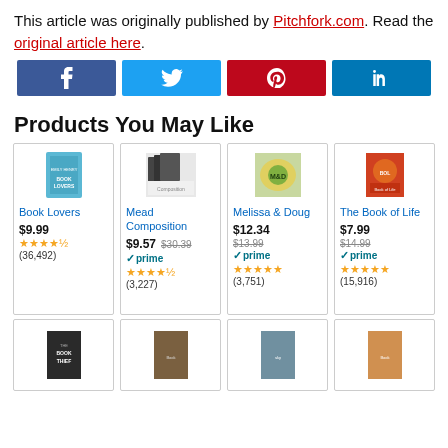This article was originally published by Pitchfork.com. Read the original article here.
[Figure (infographic): Social media share buttons: Facebook, Twitter, Pinterest, LinkedIn]
Products You May Like
[Figure (infographic): Product card: Book Lovers, $9.99, 4.5 stars, (36,492) reviews]
[Figure (infographic): Product card: Mead Composition, $9.57 (was $30.39), Prime, 4.5 stars, (3,227) reviews]
[Figure (infographic): Product card: Melissa & Doug, $12.34 (was $13.99), Prime, 5 stars, (3,751) reviews]
[Figure (infographic): Product card: The Book of Life, $7.99 (was $14.99), Prime, 5 stars, (15,916) reviews]
[Figure (infographic): Four more product cards in a second row, partially visible book covers]